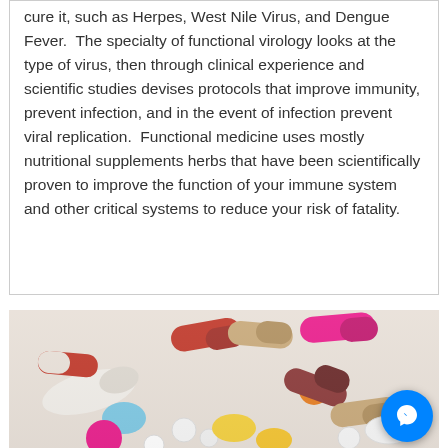cure it, such as Herpes, West Nile Virus, and Dengue Fever.  The specialty of functional virology looks at the type of virus, then through clinical experience and scientific studies devises protocols that improve immunity, prevent infection, and in the event of infection prevent viral replication.  Functional medicine uses mostly nutritional supplements herbs that have been scientifically proven to improve the function of your immune system and other critical systems to reduce your risk of fatality.
[Figure (photo): A photo of a large pile of colorful pills and capsules (red, white, blue, orange, yellow, magenta, brown) on a white surface.]